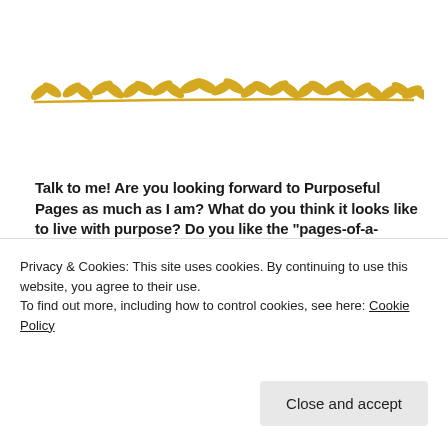[Figure (illustration): Decorative golden/yellow vine or laurel branch divider stretching horizontally across the page]
Talk to me! Are you looking forward to Purposeful Pages as much as I am? What do you think it looks like to live with purpose? Do you like the “pages-of-a-book” analogy? Do you have any creative ideas for spreading the word? I can’t wait to hear from you in the comments.
Privacy & Cookies: This site uses cookies. By continuing to use this website, you agree to their use.
To find out more, including how to control cookies, see here: Cookie Policy